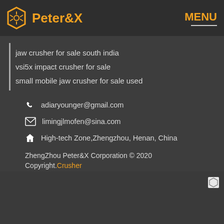Peter&X  MENU
jaw crusher for sale south india
vsi5x impact crusher for sale
small mobile jaw crusher for sale used
adiaryounger@gmail.com
limingjlmofen@sina.com
High-tech Zone,Zhengzhou, Henan, China
ZhengZhou Peter&X Corporation © 2020
Copyright.Crusher